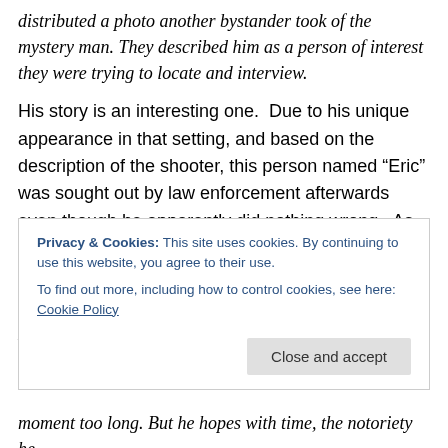distributed a photo another bystander took of the mystery man. They described him as a person of interest they were trying to locate and interview.
His story is an interesting one.  Due to his unique appearance in that setting, and based on the description of the shooter, this person named “Eric” was sought out by law enforcement afterwards even though he apparently did nothing wrong.  As an innocent bystander, he was cleared of any crime, but even today still feels the stigma of suspicion based on his characteristics.
Eric’s story parallels the post 9/11 experiences of religious
Privacy & Cookies: This site uses cookies. By continuing to use this website, you agree to their use.
To find out more, including how to control cookies, see here: Cookie Policy
moment too long. But he hopes with time, the notoriety he